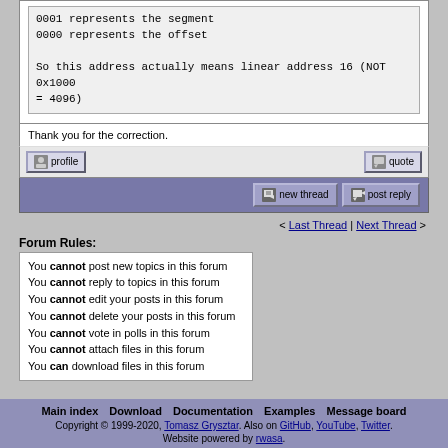0001 represents the segment
0000 represents the offset

So this address actually means linear address 16 (NOT 0x1000 = 4096)
Thank you for the correction.
< Last Thread | Next Thread >
Forum Rules:
You cannot post new topics in this forum
You cannot reply to topics in this forum
You cannot edit your posts in this forum
You cannot delete your posts in this forum
You cannot vote in polls in this forum
You cannot attach files in this forum
You can download files in this forum
Main index   Download   Documentation   Examples   Message board
Copyright © 1999-2020, Tomasz Grysztar. Also on GitHub, YouTube, Twitter.
Website powered by rwasa.